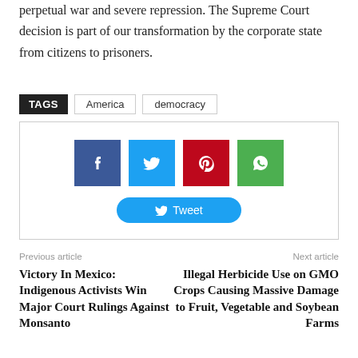perpetual war and severe repression. The Supreme Court decision is part of our transformation by the corporate state from citizens to prisoners.
TAGS   America   democracy
[Figure (infographic): Social sharing buttons: Facebook (blue), Twitter (light blue), Pinterest (red), WhatsApp (green), and a Tweet button]
Previous article
Victory In Mexico: Indigenous Activists Win Major Court Rulings Against Monsanto
Next article
Illegal Herbicide Use on GMO Crops Causing Massive Damage to Fruit, Vegetable and Soybean Farms